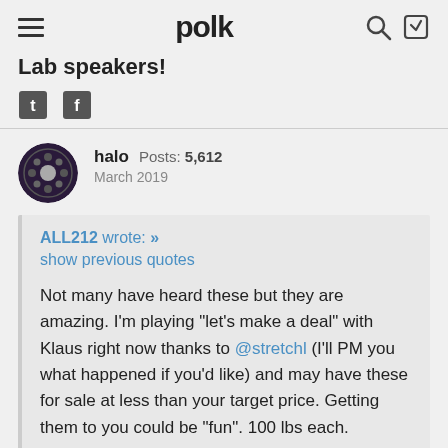polk
Lab speakers!
halo  Posts: 5,612  March 2019
ALL212 wrote: »
show previous quotes

Not many have heard these but they are amazing. I'm playing "let's make a deal" with Klaus right now thanks to @stretchl (I'll PM you what happened if you'd like) and may have these for sale at less than your target price. Getting them to you could be "fun". 100 lbs each.